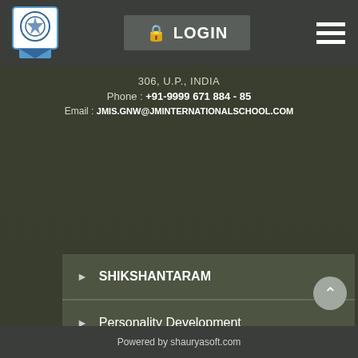LOGIN
306, U.P., INDIA
Phone : +91-9999 671 884 - 85
Email : JMIS.GNW@JMINTERNATIONALSCHOOL.COM
SHIKSHANTARAM
Personality Development
Global Outlook
Innovations
Dwarka Campus
Powered by shauryasoft.com